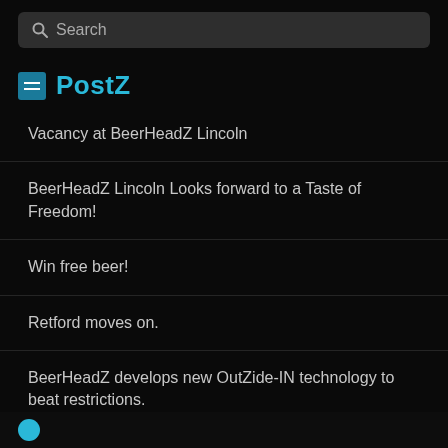Search
PostZ
Vacancy at BeerHeadZ Lincoln
BeerHeadZ Lincoln Looks forward to a Taste of Freedom!
Win free beer!
Retford moves on.
BeerHeadZ develops new OutZide-IN technology to beat restrictions.
S